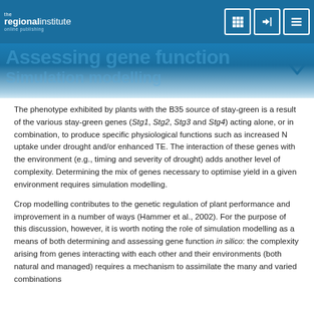the regionalinstitute online publishing — Assessing gene function
Assessing gene function
The phenotype exhibited by plants with the B35 source of stay-green is a result of the various stay-green genes (Stg1, Stg2, Stg3 and Stg4) acting alone, or in combination, to produce specific physiological functions such as increased N uptake under drought and/or enhanced TE. The interaction of these genes with the environment (e.g., timing and severity of drought) adds another level of complexity. Determining the mix of genes necessary to optimise yield in a given environment requires simulation modelling.
Crop modelling contributes to the genetic regulation of plant performance and improvement in a number of ways (Hammer et al., 2002). For the purpose of this discussion, however, it is worth noting the role of simulation modelling as a means of both determining and assessing gene function in silico: the complexity arising from genes interacting with each other and their environments (both natural and managed) requires a mechanism to assimilate the many and varied combinations